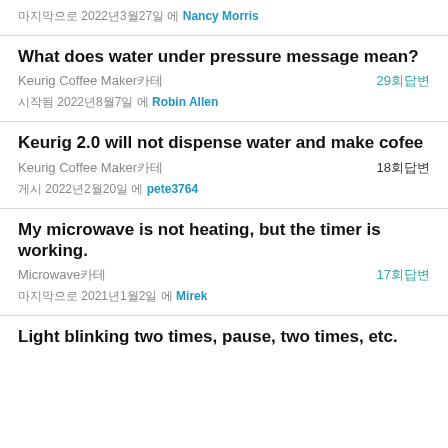마지막으로 2022년3월27일 에 Nancy Morris
What does water under pressure message mean?
Keurig Coffee Maker카테 29회답변
시작됨 2022년8월7일 에 Robin Allen
Keurig 2.0 will not dispense water and make cofee
Keurig Coffee Maker카테 18회답변
게시 2022년2월20일 에 pete3764
My microwave is not heating, but the timer is working.
Microwave카테 17회답변
마지막으로 2021년1월2일 에 Mirek
Light blinking two times, pause, two times, etc.